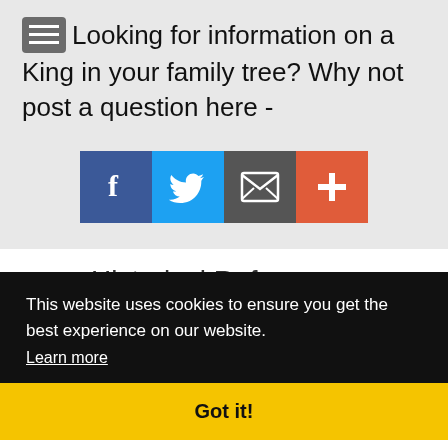Looking for information on a King in your family tree? Why not post a question here -
[Figure (infographic): Social media share icons: Facebook (blue), Twitter (light blue), Email (dark grey), Plus/Add (red-orange)]
Historical References
...antiquity and still met with parts of the country, Berwick, Fife, and Aberdeen. The oldest of the name recorded in Aberdeenshire is: 'Robertus dictus King' who bequeathed to the prior and convent of St.
This website uses cookies to ensure you get the best experience on our website.
Learn more
Got it!